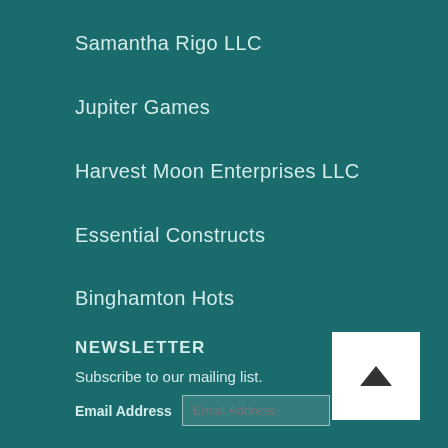Samantha Rigo LLC
Jupiter Games
Harvest Moon Enterprises LLC
Essential Constructs
Binghamton Hots
NEWSLETTER
Subscribe to our mailing list.
Email Address